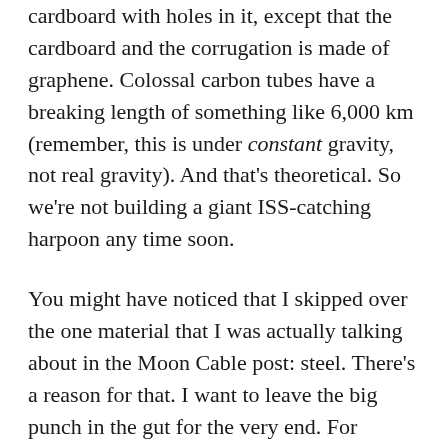cardboard with holes in it, except that the cardboard and the corrugation is made of graphene. Colossal carbon tubes have a breaking length of something like 6,000 km (remember, this is under constant gravity, not real gravity). And that's theoretical. So we're not building a giant ISS-catching harpoon any time soon.
You might have noticed that I skipped over the one material that I was actually talking about in the Moon Cable post: steel. There's a reason for that. I want to leave the big punch in the gut for the very end. For dramatic purposes.